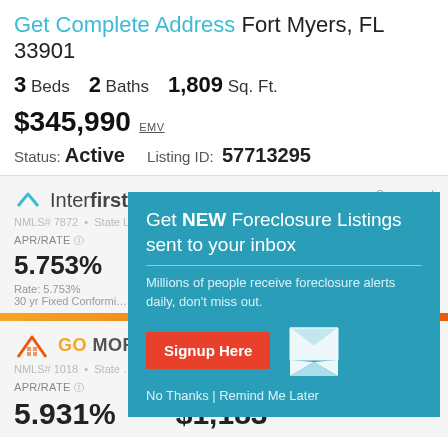Get Complete Address Fort Myers, FL 33901
3 Beds  2 Baths  1,809 Sq. Ft.
$345,990 EMV
Status: Active  Listing ID: 57713295
[Figure (screenshot): Interfirst lender ad showing APR/RATE 5.753%, Rate: 5.753%, 30 yr Fixed Conforming, NMLS# 7872, Sponsored]
[Figure (screenshot): Go Mortgage lender ad showing APR/RATE 5.931%, MO. PAYMENT $1,183, NMLS# 1018]
[Figure (infographic): Modal overlay: Get NEW Foreclosure Listings sent to your inbox. Millions of people receive foreclosure alerts daily, don't miss out. Signup Here button. No Thanks | Remind Me Later links.]